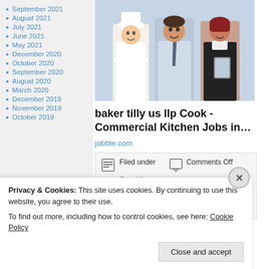September 2021
August 2021
July 2021
June 2021
May 2021
December 2020
October 2020
September 2020
August 2020
March 2020
December 2019
November 2019
October 2019
[Figure (photo): Three restaurant/hospitality staff smiling: a chef in white uniform and hat, a man in business attire with tie, and a woman in black vest holding a tablet]
baker tilly us llp Cook - Commercial Kitchen Jobs in…
jobble.com
Filed under  Comments Off  Four Mice
Tagged as electra/, Kristin Scott Thomas
Privacy & Cookies: This site uses cookies. By continuing to use this website, you agree to their use.
To find out more, including how to control cookies, see here: Cookie Policy